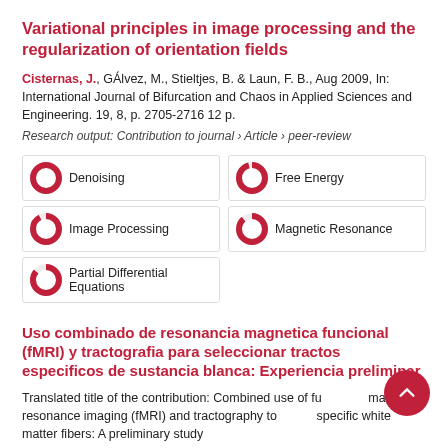Variational principles in image processing and the regularization of orientation fields
Cisternas, J., GÁlvez, M., Stieltjes, B. & Laun, F. B., Aug 2009, In: International Journal of Bifurcation and Chaos in Applied Sciences and Engineering. 19, 8, p. 2705-2716 12 p.
Research output: Contribution to journal › Article › peer-review
Denoising
Free Energy
Image Processing
Magnetic Resonance
Partial Differential Equations
Uso combinado de resonancia magnetica funcional (fMRI) y tractografia para seleccionar tractos especificos de sustancia blanca: Experiencia preliminar
Translated title of the contribution: Combined use of functional magnetic resonance imaging (fMRI) and tractography to select specific white matter fibers: A preliminary study